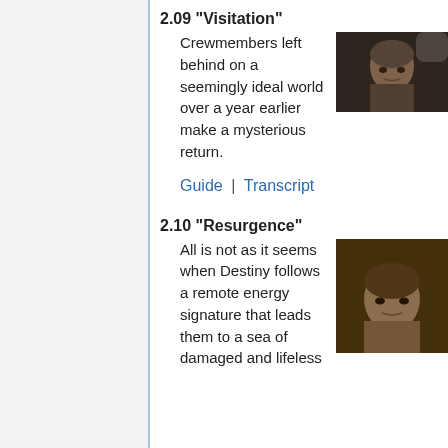2.09 "Visitation"
Crewmembers left behind on a seemingly ideal world over a year earlier make a mysterious return.
[Figure (photo): Close-up photo of a man's face looking serious, dark background]
Guide | Transcript
2.10 "Resurgence"
All is not as it seems when Destiny follows a remote energy signature that leads them to a sea of damaged and lifeless
[Figure (photo): Close-up photo of a man lying back with eyes partially open, warm blurred background]